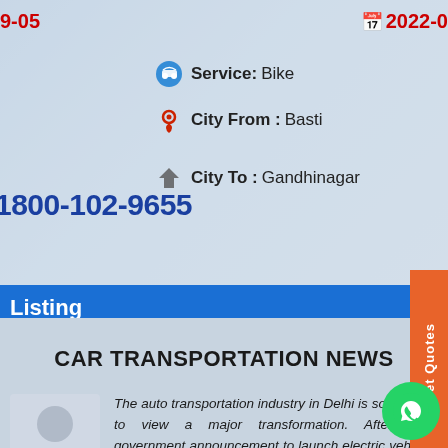9-05
2022-0
Service: Bike
City From : Basti
1800-102-9655
City To : Gandhinagar
Listing
Get Quotes
Get Quotes
CAR TRANSPORTATION NEWS
The auto transportation industry in Delhi is soon going to view a major transformation. After Modi government announcement to launch electric vehicles in India, the major auto